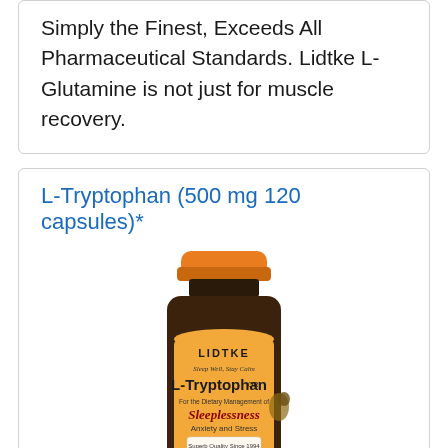Simply the Finest, Exceeds All Pharmaceutical Standards. Lidtke L-Glutamine is not just for muscle recovery.
L-Tryptophan (500 mg 120 capsules)*
[Figure (photo): Brown supplement bottle with orange cap labeled LIDTKE L-Tryptophan, Sleep Well Stay Calm, For the Dietary Management of Sleeplessness Anxiety and Stress, Superb Quality Since 1994, 500 mg 120 capsules]